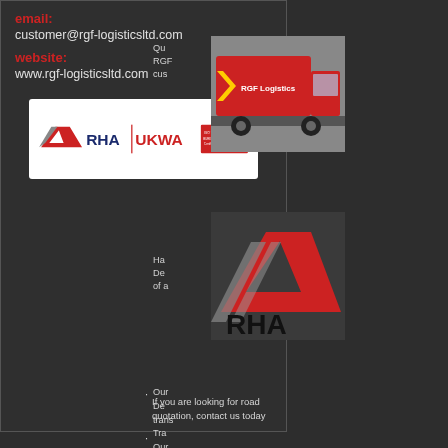email: customer@rgf-logisticsltd.com
website: www.rgf-logisticsltd.com
[Figure (logo): RHA UKWA Bureau Veritas ISO 9001 certification logos banner]
[Figure (photo): Red RGF Logistics truck on road]
Qu RGF cus
[Figure (logo): RHA logo with red and grey chevron design]
Ha De of a
Our De trans Tra Our Ass
If you are looking for road quotation, contact us today